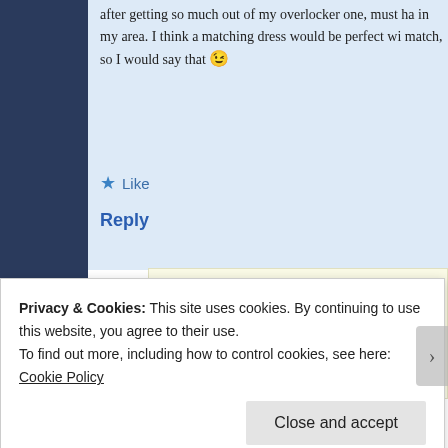after getting so much out of my overlocker one, must ha... in my area. I think a matching dress would be perfect wi... match, so I would say that 😉
★ Like
Reply
Clarinda Kaleidoscope
22/02/2015 at 11:19 pm ∞
Guthrie and Ghani are running an overlocker course... making a Moneta – I am thinking about it! I like thing...
Privacy & Cookies: This site uses cookies. By continuing to use this website, you agree to their use.
To find out more, including how to control cookies, see here: Cookie Policy
Close and accept